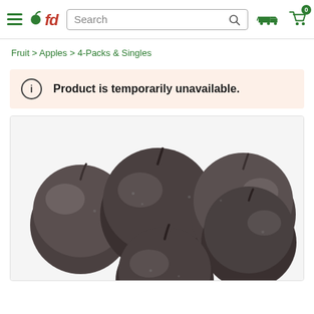fd — Search bar, delivery and cart icons
Fruit > Apples > 4-Packs & Singles
Product is temporarily unavailable.
[Figure (photo): Black and white photograph of a group of apples arranged together on a white background, showing approximately 5-6 apples, some whole with stems visible.]